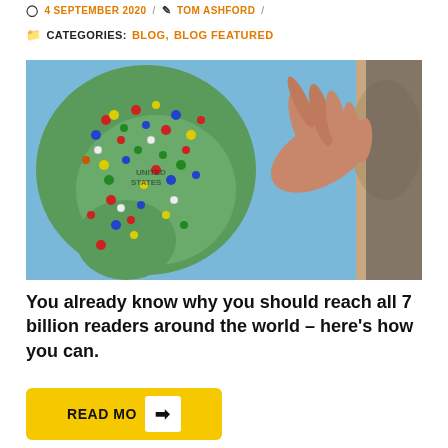4 SEPTEMBER 2020 / TOM ASHFORD /
CATEGORIES: BLOG, BLOG FEATURED
[Figure (photo): A hand pointing at a world map covered with colorful pushpins, particularly dense over North America.]
You already know why you should reach all 7 billion readers around the world – here's how you can.
READ MO →